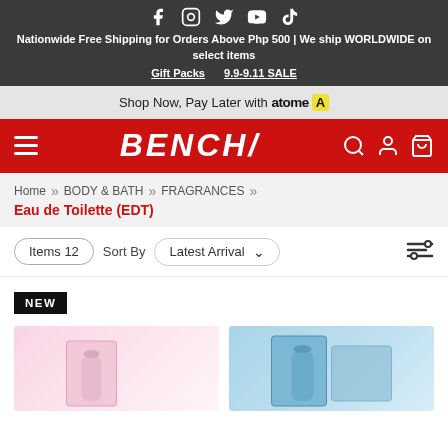Nationwide Free Shipping for Orders Above Php 500 | We ship WORLDWIDE on select items | Gift Packs | 9.9-9.11 SALE
Shop Now, Pay Later with atome
BENCH/
Home >> BODY & BATH >> FRAGRANCES >> Eau de Toilette (EDT)
Items 12  Sort By  Latest Arrival
NEW
[Figure (photo): Two product images partially visible at the bottom - left shows a pink/pastel colored fragrance box and bottle, right shows a blue/teal colored fragrance box and bottle]